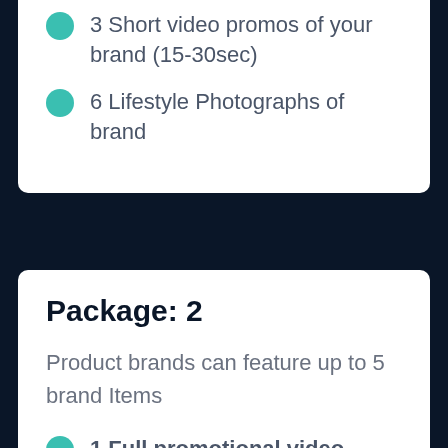3 Short video promos of your brand (15-30sec)
6 Lifestyle Photographs of brand
Package: 2
Product brands can feature up to 5 brand Items
1 Full promotional video story